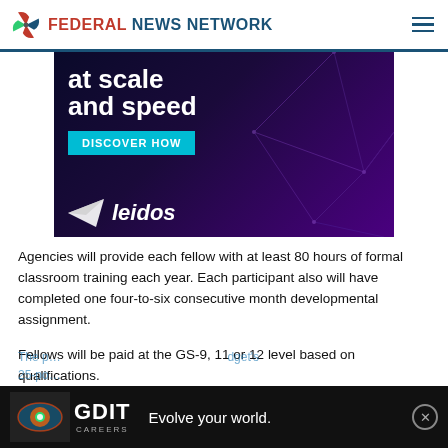FEDERAL NEWS NETWORK
[Figure (photo): Leidos advertisement banner: dark purple geometric background with text 'at scale and speed', teal 'DISCOVER HOW' button, and Leidos logo with paper-plane icon.]
Agencies will provide each fellow with at least 80 hours of formal classroom training each year. Each participant also will have completed one four-to-six consecutive month developmental assignment.
Fellows will be paid at the GS-9, 11 or 12 level based on qualifications.
The p... dget's 25-po...
[Figure (photo): GDIT Careers advertisement banner: black background with colorful eye graphic, GDIT logo, and tagline 'Evolve your world.' with close button.]